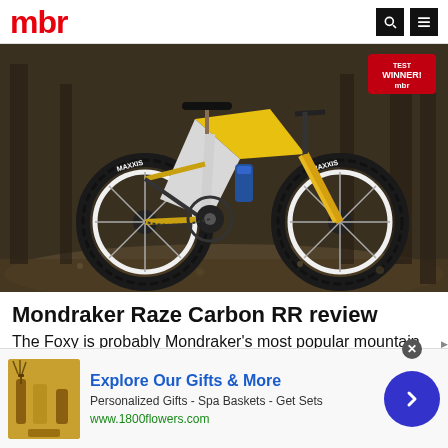mbr
[Figure (photo): Mountain bike - Mondraker Raze Carbon RR with yellow and silver frame, MAXXIS tires, photographed in a forest setting. A red 'TEST WINNER! mbr' badge is visible in the top right corner.]
Mondraker Raze Carbon RR review
The Foxy is probably Mondraker's most popular mountain bike, but...
[Figure (infographic): Advertisement banner: Explore Our Gifts & More. Personalized Gifts - Spa Baskets - Get Sets. www.1800flowers.com. Shows product image and navigation arrow button.]